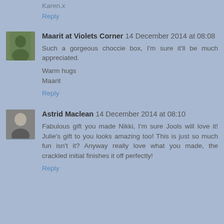Karen.x
Reply
Maarit at Violets Corner  14 December 2014 at 08:08
Such a gorgeous choccie box, I'm sure it'll be much appreciated.

Warm hugs
Maarit
Reply
Astrid Maclean  14 December 2014 at 08:10
Fabulous gift you made Nikki, I'm sure Jools will love it! Julie's gift to you looks amazing too! This is just so much fun isn't it? Anyway really love what you made, the crackled initial finishes it off perfectly!
Reply